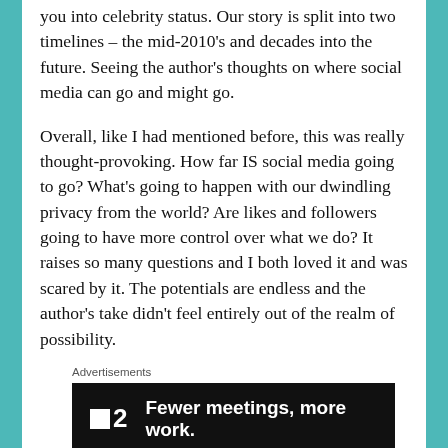you into celebrity status. Our story is split into two timelines – the mid-2010's and decades into the future. Seeing the author's thoughts on where social media can go and might go.
Overall, like I had mentioned before, this was really thought-provoking. How far IS social media going to go? What's going to happen with our dwindling privacy from the world? Are likes and followers going to have more control over what we do? It raises so many questions and I both loved it and was scared by it. The potentials are endless and the author's take didn't feel entirely out of the realm of possibility.
Advertisements
[Figure (other): Dark banner advertisement reading '2 Fewer meetings, more work.' with a small white square logo on the left]